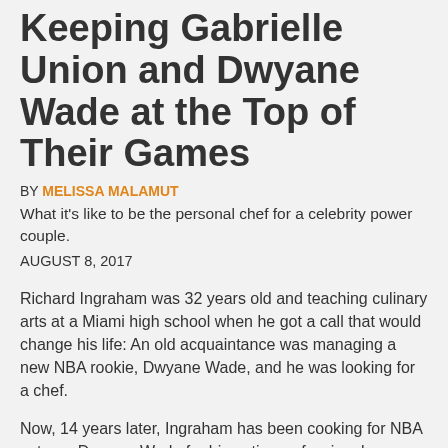Keeping Gabrielle Union and Dwyane Wade at the Top of Their Games
BY MELISSA MALAMUT
What it's like to be the personal chef for a celebrity power couple.
AUGUST 8, 2017
Richard Ingraham was 32 years old and teaching culinary arts at a Miami high school when he got a call that would change his life: An old acquaintance was managing a new NBA rookie, Dwyane Wade, and he was looking for a chef.
Now, 14 years later, Ingraham has been cooking for NBA veteran Dwyane Wade for his entire professional career. It's taken him from Miami to Chicago to vacations abroad. But when Wade and Gabrielle Union married in 2015, it meant cooking for a veteran in another field: acting. Union has been gracing the screen for decades, starring in some of the most